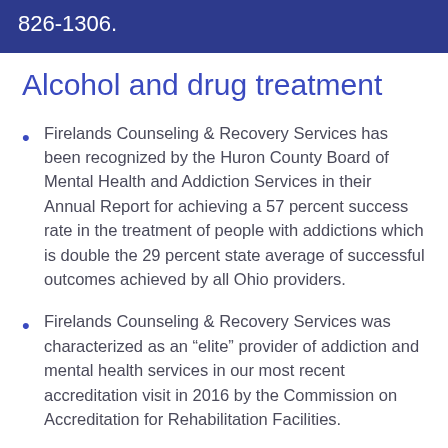826-1306.
Alcohol and drug treatment
Firelands Counseling & Recovery Services has been recognized by the Huron County Board of Mental Health and Addiction Services in their Annual Report for achieving a 57 percent success rate in the treatment of people with addictions which is double the 29 percent state average of successful outcomes achieved by all Ohio providers.
Firelands Counseling & Recovery Services was characterized as an “elite” provider of addiction and mental health services in our most recent accreditation visit in 2016 by the Commission on Accreditation for Rehabilitation Facilities.